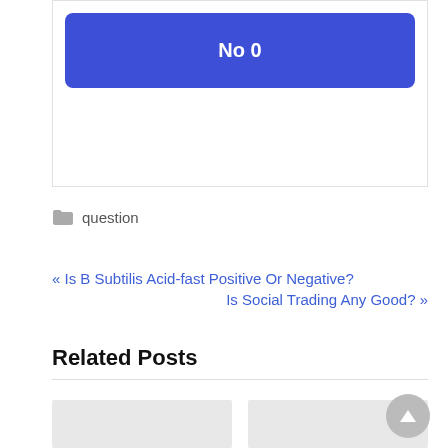[Figure (other): Blue rounded button labeled 'No 0' inside a bordered poll/quiz widget box]
question
« Is B Subtilis Acid-fast Positive Or Negative?
Is Social Trading Any Good? »
Related Posts
[Figure (photo): Two empty gray thumbnail placeholders for related posts]